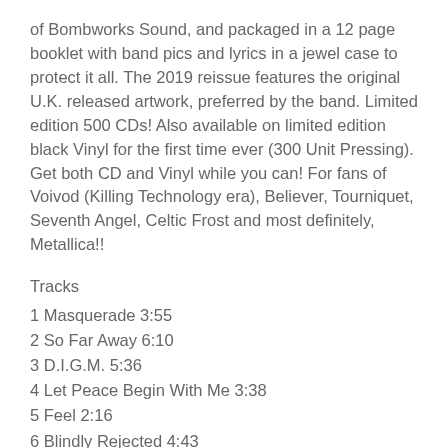of Bombworks Sound, and packaged in a 12 page booklet with band pics and lyrics in a jewel case to protect it all. The 2019 reissue features the original U.K. released artwork, preferred by the band. Limited edition 500 CDs! Also available on limited edition black Vinyl for the first time ever (300 Unit Pressing). Get both CD and Vinyl while you can! For fans of Voivod (Killing Technology era), Believer, Tourniquet, Seventh Angel, Celtic Frost and most definitely, Metallica!!
Tracks
1 Masquerade 3:55
2 So Far Away 6:10
3 D.I.G.M. 5:36
4 Let Peace Begin With Me 3:38
5 Feel 2:16
6 Blindly Rejected 4:43
7 If But For One 6:45
8 Sailors Farewell 2:54
9 Father To Son 3:40
10 Painted Reality 4:08